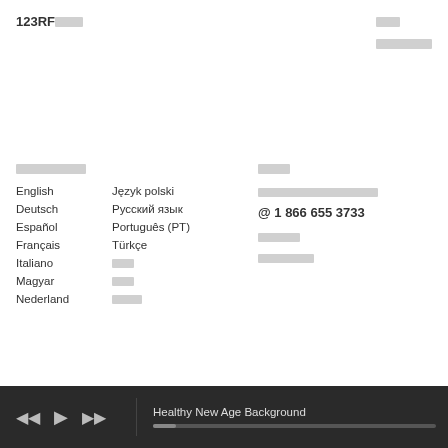123RF████
███
████████
█████████
English
Deutsch
Español
Français
Italiano
Magyar
Nederland
Język polski
Русский язык
Português (PT)
Türkçe
███
███
████
████
████████████████
@ 1 866 655 3733
██████
████████
Healthy New Age Background